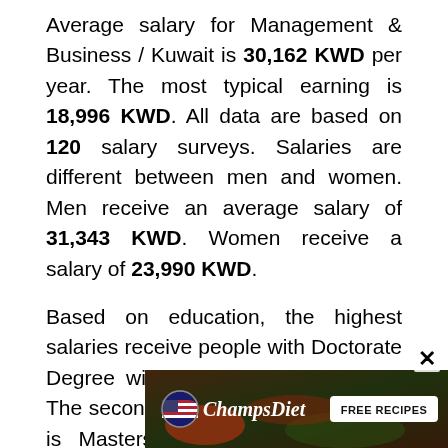Average salary for Management & Business / Kuwait is 30,162 KWD per year. The most typical earning is 18,996 KWD. All data are based on 120 salary surveys. Salaries are different between men and women. Men receive an average salary of 31,343 KWD. Women receive a salary of 23,990 KWD.
Based on education, the highest salaries receive people with Doctorate Degree with salary of 43,997 KWD. The second most paid education level is Masters Degree with salary of 32,017 KWD.
Different experiences affect earning as well. People ... receive salary of 74,965 KWD. Employees with 16-20 ...
[Figure (other): ChampsDiet advertisement banner with FREE RECIPES button and food background image]